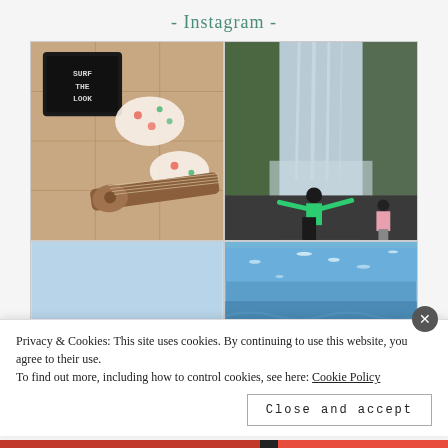- Instagram -
[Figure (photo): Flatlay of a floral bikini, a ukulele, and a letter board saying SURF THE LOOK on a stone tile background]
[Figure (photo): Person in bright green top with arms outstretched in front of a large waterfall, another person in pink coat nearby]
[Figure (photo): Beach scene with light blue sky, colorful inflatables at the bottom edge]
[Figure (photo): Calm blue ocean water with sparkling light reflections]
Privacy & Cookies: This site uses cookies. By continuing to use this website, you agree to their use.
To find out more, including how to control cookies, see here: Cookie Policy
Close and accept